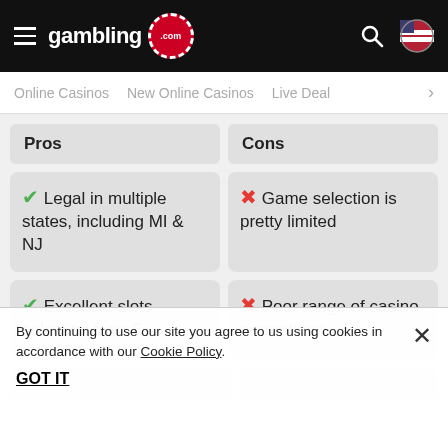gambling.com
Online Casinos   New Online Casinos   Live Dea…
| Pros | Cons |
| --- | --- |
| ✓ Legal in multiple states, including MI & NJ | ✗ Game selection is pretty limited |
| ✓ Excellent slots selection from 5+ | ✗ Poor range of casino promotions |
By continuing to use our site you agree to us using cookies in accordance with our Cookie Policy. GOT IT
Evolution